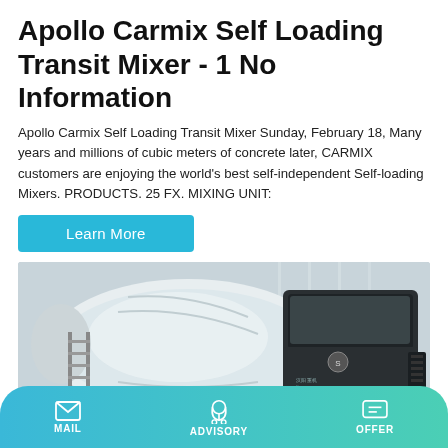Apollo Carmix Self Loading Transit Mixer - 1 No Information
Apollo Carmix Self Loading Transit Mixer Sunday, February 18, Many years and millions of cubic meters of concrete later, CARMIX customers are enjoying the world's best self-independent Self-loading Mixers. PRODUCTS. 25 FX. MIXING UNIT:
[Figure (other): Cyan/blue 'Learn More' button]
[Figure (photo): White self-loading transit mixer truck (concrete mixer) with large rotating drum, photographed against a light indoor background. The truck has a dark cab and visible Chinese branding.]
MAIL   ADVISORY   OFFER